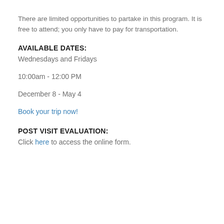There are limited opportunities to partake in this program. It is free to attend; you only have to pay for transportation.
AVAILABLE DATES:
Wednesdays and Fridays
10:00am - 12:00 PM
December 8 - May 4
Book your trip now!
POST VISIT EVALUATION:
Click here to access the online form.